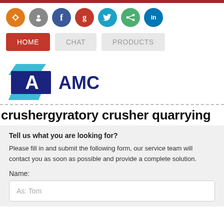[Figure (screenshot): Top bar with social media icon circles: RSS (orange), MySpace (gray), Facebook (blue), Google+ (red), Twitter (teal), Share (green), LinkedIn (blue)]
[Figure (screenshot): Navigation bar with HOME (red/active), CHAT, PRODUCTS buttons]
[Figure (logo): AMC logo with blue/teal geometric A shape and AMC text in dark blue]
crushergyratory crusher quarrying
Tell us what you are looking for?
Please fill in and submit the following form, our service team will contact you as soon as possible and provide a complete solution.
Name:
As: Tom